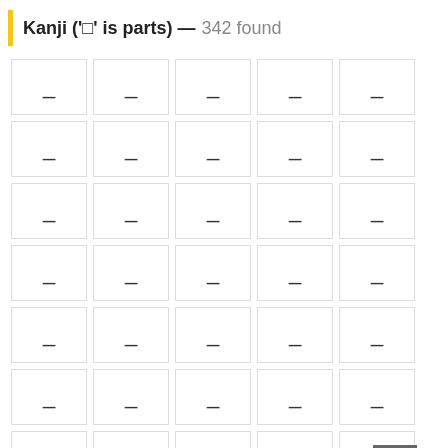Kanji ('□' is parts) — 342 found
[Figure (other): Grid of kanji character boxes, 7 rows of 5 cells each plus a partial row, showing placeholder kanji characters in bordered rectangular cells. A back-to-top button (chevron up) appears at bottom right.]